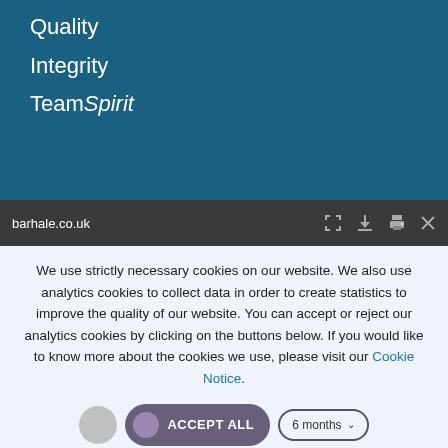Quality
Integrity
TeamSpirit
barhale.co.uk
We use strictly necessary cookies on our website. We also use analytics cookies to collect data in order to create statistics to improve the quality of our website. You can accept or reject our analytics cookies by clicking on the buttons below. If you would like to know more about the cookies we use, please visit our Cookie Notice.
ACCEPT ALL
6 months
Save my preferences
Privacy policy